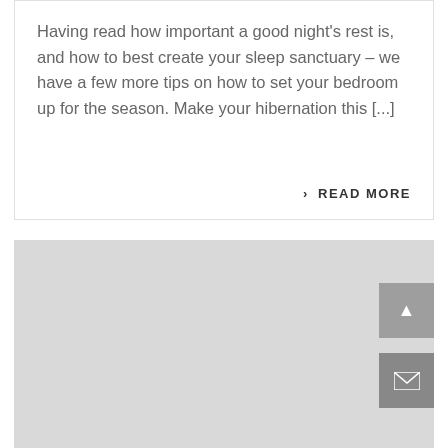Having read how important a good night's rest is, and how to best create your sleep sanctuary – we have a few more tips on how to set your bedroom up for the season. Make your hibernation this [...]
› READ MORE
[Figure (other): A large light grey placeholder/map area with a scroll-to-top button (dark grey with upward arrow) and an email/envelope button (dark grey with envelope icon) in the bottom-right corner.]